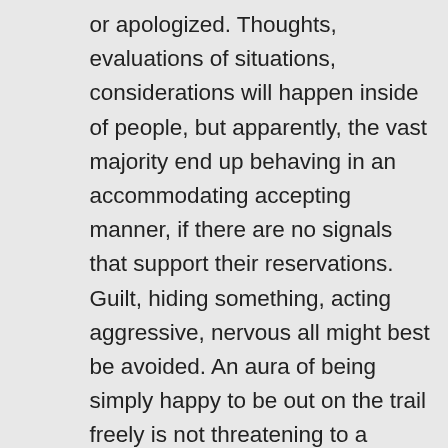or apologized. Thoughts, evaluations of situations, considerations will happen inside of people, but apparently, the vast majority end up behaving in an accommodating accepting manner, if there are no signals that support their reservations. Guilt, hiding something, acting aggressive, nervous all might best be avoided. An aura of being simply happy to be out on the trail freely is not threatening to a reasonable person.

If a lone male acts as suggested, oblivious that there is anything unusual with being nude on a trail, there is less chance that people will project bad on to him. Out on a trail, it is reasonable to assume that he was